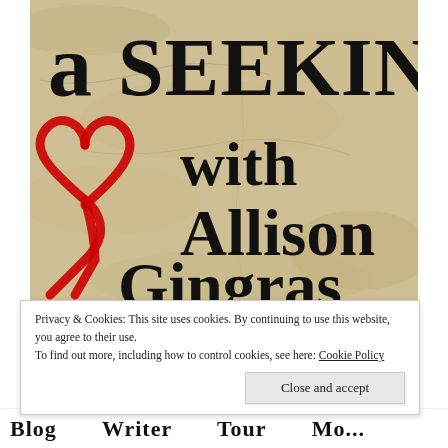[Figure (illustration): Blog header image on stone/rock texture background. Text reads 'a SEEKING' (large handwritten style), a red hand-drawn heart outline on the left, then 'with Allison Gingras' in handwritten script. Title of blog: 'A Seeking Heart with Allison Gingras'.]
Privacy & Cookies: This site uses cookies. By continuing to use this website, you agree to their use.
To find out more, including how to control cookies, see here: Cookie Policy
Close and accept
Blog   Writer   Tour   Mo...